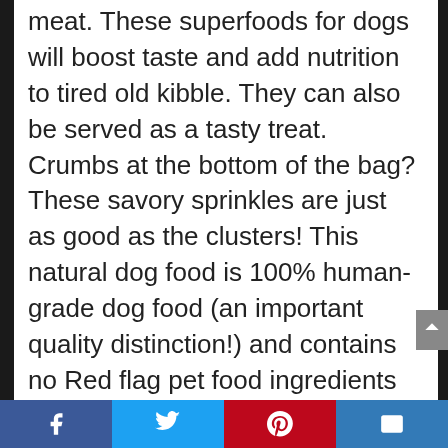meat. These superfoods for dogs will boost taste and add nutrition to tired old kibble. They can also be served as a tasty treat. Crumbs at the bottom of the bag? These savory sprinkles are just as good as the clusters! This natural dog food is 100% human-grade dog food (an important quality distinction!) and contains no Red flag pet food ingredients like corn, soy, rice, beet pulp or wheat. About The Honest Kitchen: The Honest Kitchen started in Lucy Postin's kitchen in 2002 when she started making her dog's meals from scratch to help combat his ear infections. The physical difference from his new diet was spectacular but her kitchen
Facebook | Twitter | Pinterest | Email